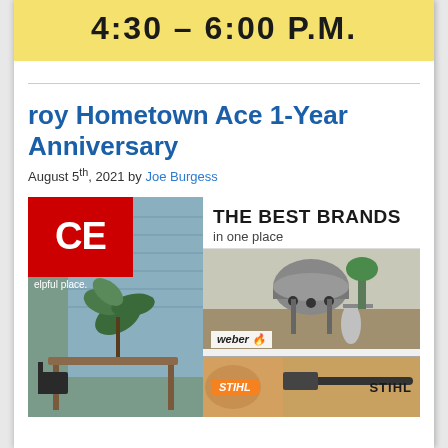4:30 – 6:00 P.M.
roy Hometown Ace 1-Year Anniversary
August 5th, 2021 by Joe Burgess
[Figure (advertisement): Ace Hardware advertisement showing outdoor furniture scene on left with ACE logo in red box and 'helpful place.' tagline, and on right 'THE BEST BRANDS in one place' with Weber grill image and Stihl product section below]